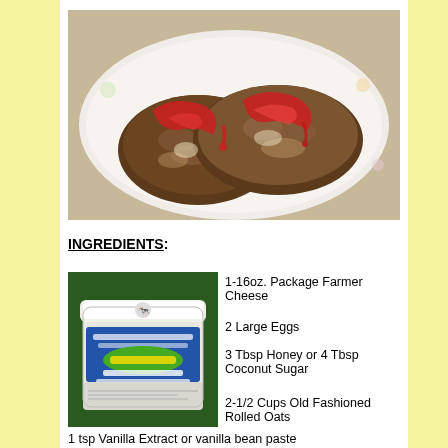[Figure (photo): Two golden-brown oat pancakes topped with red fruit sauce/jam served on a white floral plate]
INGREDIENTS:
[Figure (photo): Container of Non Fat Farmer Cheese product on green background]
1-16oz. Package Farmer Cheese
2 Large Eggs
3 Tbsp Honey or 4 Tbsp Coconut Sugar
2-1/2 Cups Old Fashioned Rolled Oats
1 tsp Vanilla Extract or vanilla bean paste